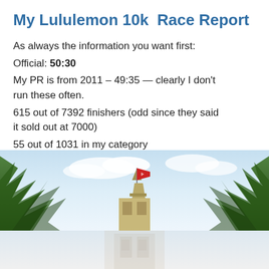My Lululemon 10k  Race Report
As always the information you want first:
Official: 50:30
My PR is from 2011 – 49:35 — clearly I don't run these often.
615 out of 7392 finishers (odd since they said it sold out at 7000)
55 out of 1031 in my category
[Figure (photo): Outdoor photo of a building with a red flag on top, flanked by tall green trees, against a blue sky with white clouds. A faded/watermarked version of the building appears at the bottom.]